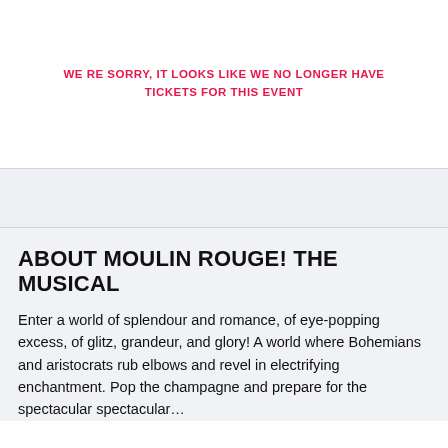WE RE SORRY, IT LOOKS LIKE WE NO LONGER HAVE TICKETS FOR THIS EVENT
ABOUT MOULIN ROUGE! THE MUSICAL
Enter a world of splendour and romance, of eye-popping excess, of glitz, grandeur, and glory! A world where Bohemians and aristocrats rub elbows and revel in electrifying enchantment. Pop the champagne and prepare for the spectacular spectacular…